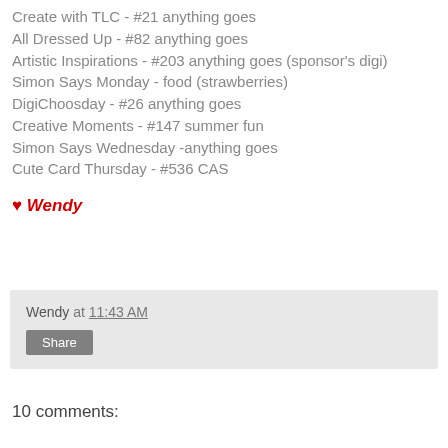Create with TLC - #21 anything goes
All Dressed Up - #82 anything goes
Artistic Inspirations - #203 anything goes (sponsor's digi)
Simon Says Monday - food (strawberries)
DigiChoosday - #26 anything goes
Creative Moments - #147 summer fun
Simon Says Wednesday -anything goes
Cute Card Thursday - #536 CAS
♥ Wendy
Wendy at 11:43 AM
Share
10 comments: